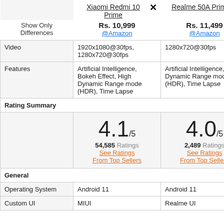|  | Xiaomi Redmi 10 Prime | Realme 50A Prime |
| --- | --- | --- |
| Show Only Differences | Rs. 10,999 @Amazon | Rs. 11,499 @Amazon |
| Video | 1920x1080@30fps, 1280x720@30fps | 1280x720@30fps |
| Features | Artificial Intelligence, Bokeh Effect, High Dynamic Range mode (HDR), Time Lapse | Artificial Intelligence, High Dynamic Range mode (HDR), Time Lapse |
| Rating Summary |  |  |
|  | 4.1/5
54,585 Ratings
See Ratings
From Top Sellers | 4.0/5
2,489 Ratings
See Ratings
From Top Sellers |
| General |  |  |
| Operating System | Android 11 | Android 11 |
| Custom UI | MIUI | Realme UI |